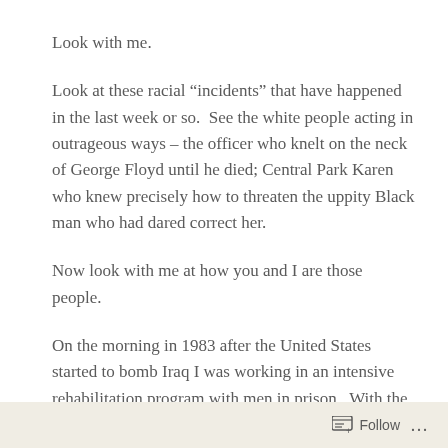Look with me.
Look at these racial “incidents” that have happened in the last week or so.  See the white people acting in outrageous ways – the officer who knelt on the neck of George Floyd until he died; Central Park Karen who knew precisely how to threaten the uppity Black man who had dared correct her.
Now look with me at how you and I are those people.
On the morning in 1983 after the United States started to bomb Iraq I was working in an intensive rehabilitation program with men in prison.  With the program director, we were driving down to Groveland prison to meet with
Follow ...